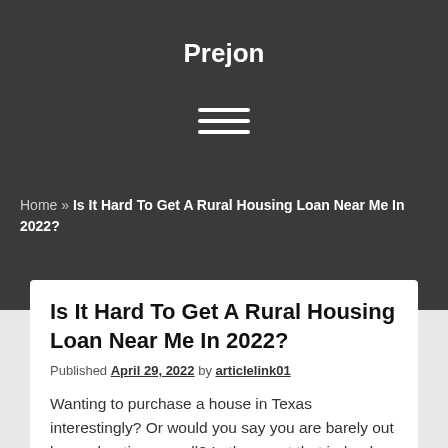Prejon
Home » Is It Hard To Get A Rural Housing Loan Near Me In 2022?
Is It Hard To Get A Rural Housing Loan Near Me In 2022?
Published April 29, 2022 by articlelink01
Wanting to purchase a house in Texas interestingly? Or would you say you are barely out house-hunting overall? In the event that indeed, a country lodging credit close to me can help you significantly. Great many families and a large number of people as of now have been helped b